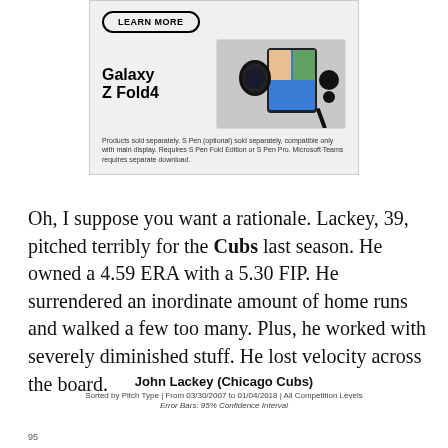[Figure (advertisement): Samsung Galaxy Z Fold4 advertisement with LEARN MORE button, product image showing smartwatch, foldable phone with video call, and earbuds. Disclaimer text: Products sold separately. S Pen (optional) sold separately, compatible only with main display. Requires S Pen Fold Edition or S Pen Pro. Microsoft Teams requires separate download.]
Oh, I suppose you want a rationale. Lackey, 39, pitched terribly for the Cubs last season. He owned a 4.59 ERA with a 5.30 FIP. He surrendered an inordinate amount of home runs and walked a few too many. Plus, he worked with severely diminished stuff. He lost velocity across the board.
John Lackey (Chicago Cubs)
Sorted by Pitch Type | From 03/30/2007 to 01/04/2018 | All Competition Levels
Error Bars: 95% Confidence Interval
95